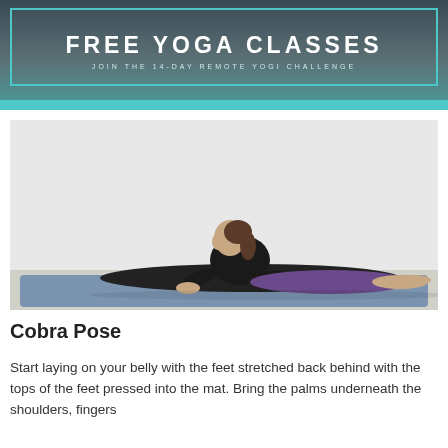[Figure (infographic): Banner with text FREE YOGA CLASSES and subtitle JOIN THE 14-DAY REMOTE YOGI CHALLENGE, teal border on dark rocky background]
[Figure (photo): Woman performing Cobra Pose (Bhujangasana) on a blue yoga mat against a white wall, wearing black top and purple leggings]
Cobra Pose
Start laying on your belly with the feet stretched back behind with the tops of the feet pressed into the mat. Bring the palms underneath the shoulders, fingers